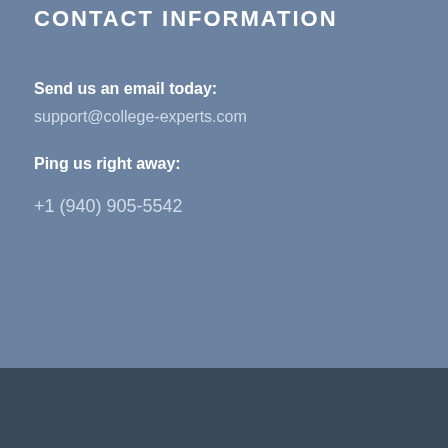CONTACT INFORMATION
Send us an email today:
support@college-experts.com
Ping us right away:
+1 (940) 905-5542
© Copyright 2010-2022 College-experts.com. All Rights Reserved.
Enfold Theme by Kriesi